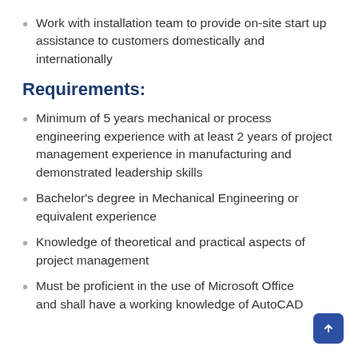Work with installation team to provide on-site start up assistance to customers domestically and internationally
Requirements:
Minimum of 5 years mechanical or process engineering experience with at least 2 years of project management experience in manufacturing and demonstrated leadership skills
Bachelor's degree in Mechanical Engineering or equivalent experience
Knowledge of theoretical and practical aspects of project management
Must be proficient in the use of Microsoft Office and shall have a working knowledge of AutoCAD